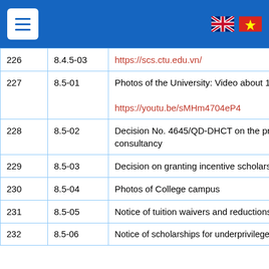Navigation header with menu button and language flags (UK, Vietnam)
| # | Code | Description |
| --- | --- | --- |
| 226 | 8.4.5-03 | https://scs.ctu.edu.vn/ |
| 227 | 8.5-01 | Photos of the University: Video about 10 reasons
https://youtu.be/sMHm4704eP4 |
| 228 | 8.5-02 | Decision No. 4645/QD-DHCT on the promulgation... consultancy |
| 229 | 8.5-03 | Decision on granting incentive scholarships |
| 230 | 8.5-04 | Photos of College campus |
| 231 | 8.5-05 | Notice of tuition waivers and reductions |
| 232 | 8.5-06 | Notice of scholarships for underprivileged students |